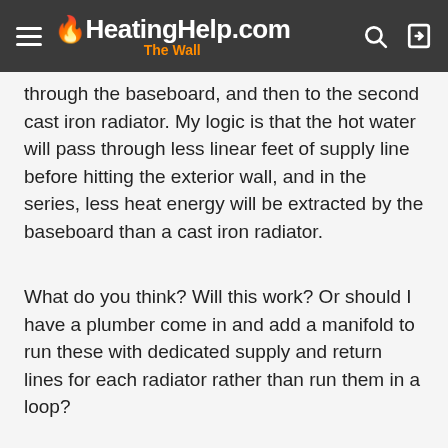HeatingHelp.com The Wall
through the baseboard, and then to the second cast iron radiator. My logic is that the hot water will pass through less linear feet of supply line before hitting the exterior wall, and in the series, less heat energy will be extracted by the baseboard than a cast iron radiator.
What do you think? Will this work? Or should I have a plumber come in and add a manifold to run these with dedicated supply and return lines for each radiator rather than run them in a loop?